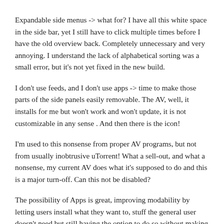Expandable side menus -> what for? I have all this white space in the side bar, yet I still have to click multiple times before I have the old overview back. Completely unnecessary and very annoying. I understand the lack of alphabetical sorting was a small error, but it's not yet fixed in the new build.
I don't use feeds, and I don't use apps -> time to make those parts of the side panels easily removable. The AV, well, it installs for me but won't work and won't update, it is not customizable in any sense . And then there is the icon!
I'm used to this nonsense from proper AV programs, but not from usually inobtrusive uTorrent! What a sell-out, and what a nonsense, my current AV does what it's supposed to do and this is a major turn-off. Can this not be disabled?
The possibility of Apps is great, improving modability by letting users install what they want to, stuff the general user doesn't need but still having the option to do so without making the client bloated for everyone. I love this system with browsers, games and whatnot. I will definitely use the new web options to manage my seedbox here when it's in a stable release.